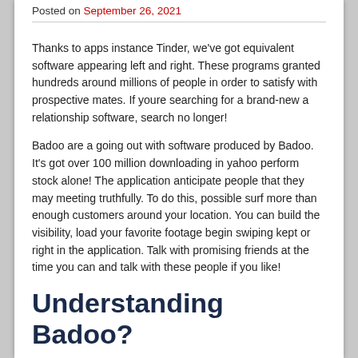Posted on September 26, 2021
Thanks to apps instance Tinder, we've got equivalent software appearing left and right. These programs granted hundreds around millions of people in order to satisfy with prospective mates. If youre searching for a brand-new a relationship software, search no longer!
Badoo are a going out with software produced by Badoo. It's got over 100 million downloading in yahoo perform stock alone! The application anticipate people that they may meeting truthfully. To do this, possible surf more than enough customers around your location. You can build the visibility, load your favorite footage begin swiping kept or right in the application. Talk with promising friends at the time you can and talk with these people if you like!
Understanding Badoo?